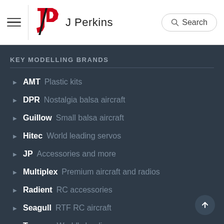[Figure (logo): J Perkins logo with red JP monogram and brand name]
KEY MODELLING BRANDS
AMT  Plastic kits
DPR  Nostalgia balsa aircraft
Guillow  Small balsa aircraft
Hitec  World leading servos
JP  Accessories and more
Multiplex  Premium aircraft and radios
Radient  RC accessories
Seagull  RTF RC aircraft
Traxxas  World's leading cars